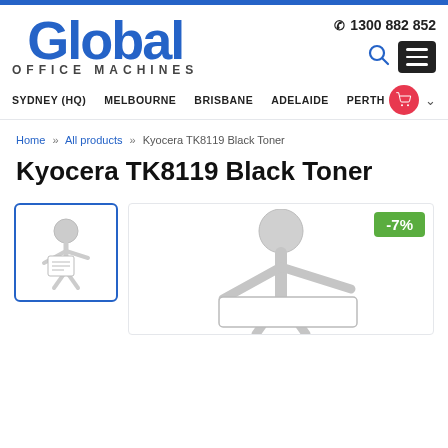Global Office Machines
1300 882 852
SYDNEY (HQ)  MELBOURNE  BRISBANE  ADELAIDE  PERTH
Home » All products » Kyocera TK8119 Black Toner
Kyocera TK8119 Black Toner
[Figure (photo): Thumbnail image of a figure holding a document/certificate]
[Figure (photo): Main product image area showing a 3D figure character holding a tablet, with a -7% discount badge in green in the top right corner]